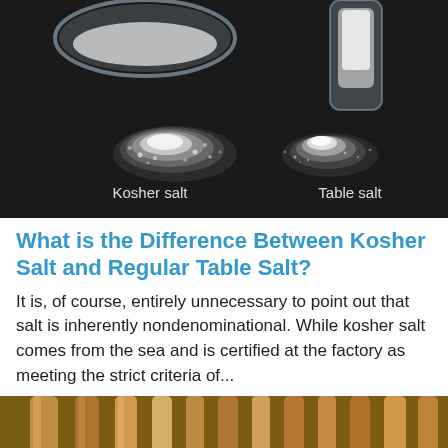[Figure (photo): Dark background photo showing two piles of salt labeled 'Kosher salt' (left, larger crystalline pile) and 'Table salt' (right, finer pile), with a glass bowl and salt shaker visible in the upper portion.]
What is the Difference Between Kosher Salt and Regular Table Salt?
It is, of course, entirely unnecessary to point out that salt is inherently nondenominational. While kosher salt comes from the sea and is certified at the factory as meeting the strict criteria of...
[Figure (photo): Partial photo showing wooden spoons on a wooden surface, cropped at the bottom of the page.]